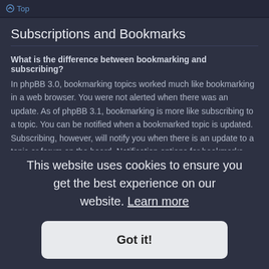Top
Subscriptions and Bookmarks
What is the difference between bookmarking and subscribing?
In phpBB 3.0, bookmarking topics worked much like bookmarking in a web browser. You were not alerted when there was an update. As of phpBB 3.1, bookmarking is more like subscribing to a topic. You can be notified when a bookmarked topic is updated. Subscribing, however, will notify you when there is an update to a topic or forum on the board. Notification options for bookmarks and subscriptions can be configured in the User Control Panel, under “Board preferences”.
Top
How do I bookmark or subscribe to specific topics?
This website uses cookies to ensure you get the best experience on our website. Learn more
Got it!
How do I subscribe to specific forums?
To subscribe to a specific forum, click the “Subscribe forum” link, at the bottom